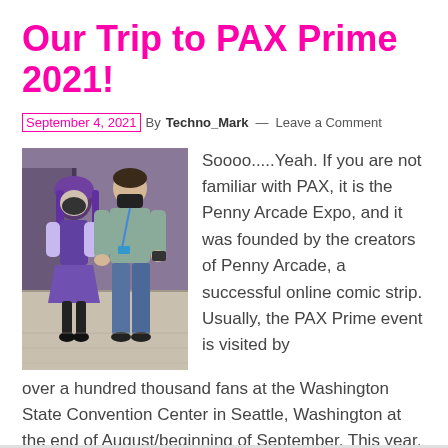Our Trip to PAX Prime 2021!
September 4, 2021 By Techno_Mark — Leave a Comment
[Figure (photo): Two people posing at PAX Prime 2021: a person in purple cosplay outfit with purple hair and mask on the left, and a taller person in a grey shirt with a lanyard and mask on the right, standing in a convention hall.]
Soooo.....Yeah. If you are not familiar with PAX, it is the Penny Arcade Expo, and it was founded by the creators of Penny Arcade, a successful online comic strip. Usually, the PAX Prime event is visited by over a hundred thousand fans at the Washington State Convention Center in Seattle, Washington at the end of August/beginning of September. This year, PAX Prime …